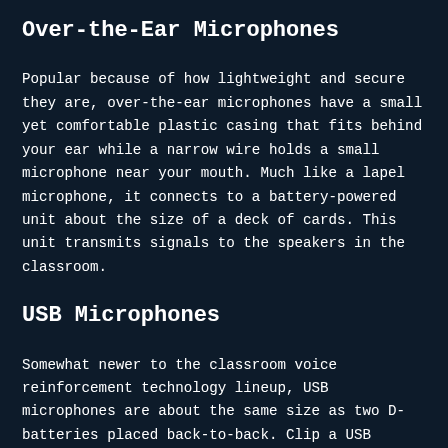Over-the-Ear Microphones
Popular because of how lightweight and secure they are, over-the-ear microphones have a small yet comfortable plastic casing that fits behind your ear while a narrow wire holds a small microphone near your mouth. Much like a lapel microphone, it connects to a battery-powered unit about the size of a deck of cards. This unit transmits signals to the speakers in the classroom.
USB Microphones
Somewhat newer to the classroom voice reinforcement technology lineup, USB microphones are about the same size as two D-batteries placed back-to-back. Clip a USB microphone to your lapel or use a lanyard to hang it against your shirt like you would an ID badge or name tag. USB microphones don't need a separate wireless...